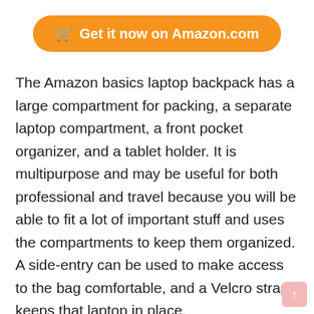[Figure (other): Orange rounded button with shopping cart icon and text 'Get it now on Amazon.com']
The Amazon basics laptop backpack has a large compartment for packing, a separate laptop compartment, a front pocket organizer, and a tablet holder. It is multipurpose and may be useful for both professional and travel because you will be able to fit a lot of important stuff and uses the compartments to keep them organized. A side-entry can be used to make access to the bag comfortable, and a Velcro strap keeps that laptop in place.